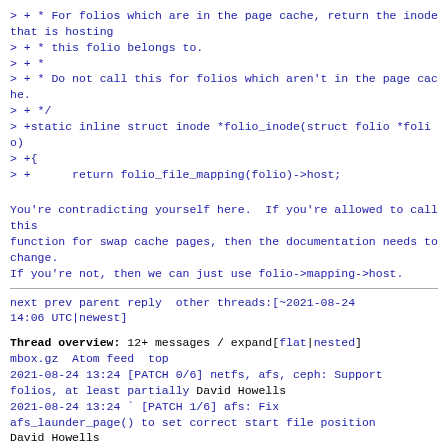> + * For folios which are in the page cache, return the inode that is hosting
> + * this folio belongs to.
> + *
> + * Do not call this for folios which aren't in the page cache.
> + */
> +static inline struct inode *folio_inode(struct folio *folio)
> +{
> +      return folio_file_mapping(folio)->host;
You're contradicting yourself here.  If you're allowed to call this
function for swap cache pages, then the documentation needs to change.
If you're not, then we can just use folio->mapping->host.
next prev parent reply  other threads:[~2021-08-24 14:06 UTC|newest]
Thread overview: 12+ messages / expand[flat|nested]
mbox.gz  Atom feed  top
2021-08-24 13:24 [PATCH 0/6] netfs, afs, ceph: Support folios, at least partially David Howells
2021-08-24 13:24 ` [PATCH 1/6] afs: Fix afs_launder_page() to set correct start file position David Howells